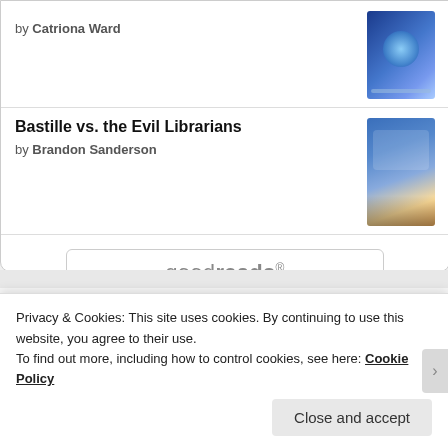by Catriona Ward
Bastille vs. the Evil Librarians
by Brandon Sanderson
[Figure (logo): goodreads logo button with rounded rectangle border]
Wendy is Currently Reading
Privacy & Cookies: This site uses cookies. By continuing to use this website, you agree to their use.
To find out more, including how to control cookies, see here: Cookie Policy
Close and accept